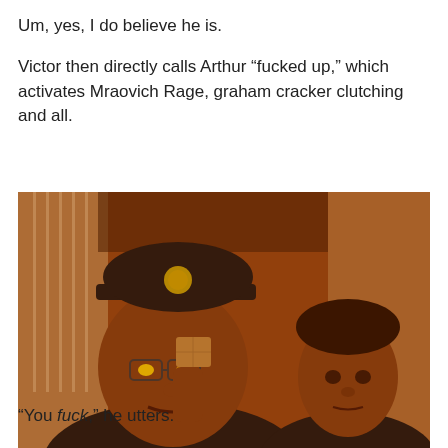Um, yes, I do believe he is.
Victor then directly calls Arthur “fucked up,” which activates Mraovich Rage, graham cracker clutching and all.
[Figure (photo): Two men sitting together in a dimly lit room with orange/red lighting. The man on the left wears a black Pittsburgh Steelers cap and glasses, and holds a graham cracker up to his face with a menacing expression. The man on the right has dark hair and looks at the camera with a neutral expression.]
“You fuck,” he utters.